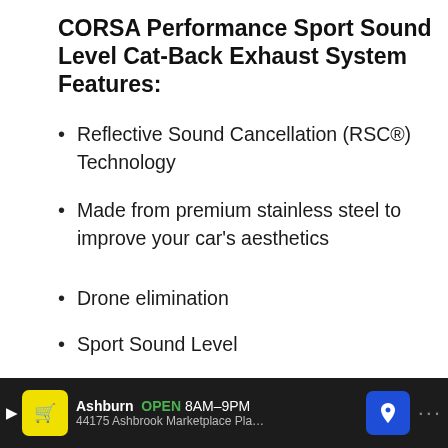CORSA Performance Sport Sound Level Cat-Back Exhaust System Features:
Reflective Sound Cancellation (RSC®) Technology
Made from premium stainless steel to improve your car's aesthetics
Drone elimination
Sport Sound Level
Polished Pro-Series Tips
Check Availability!
#8 aFe Power MACH Force-Xp Performance Cat-Back
Ashburn  OPEN  8AM–9PM  44175 Ashbrook Marketplace Pla…